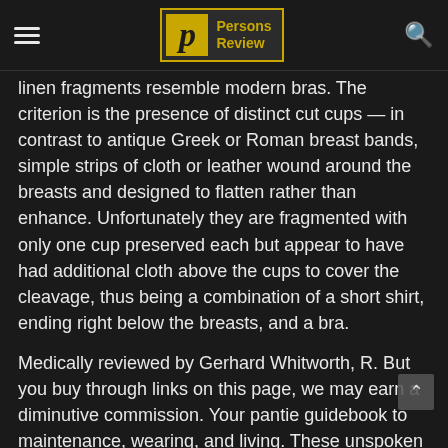Persons Review
linen fragments resemble modern bras. The criterion is the presence of distinct cut cups — in contrast to antique Greek or Roman breast bands, simple strips of cloth or leather wound around the breasts and designed to flatten rather than enhance. Unfortunately they are fragmented with only one cup preserved each but appear to have had additional cloth above the cups to cover the cleavage, thus being a combination of a short shirt, ending right below the breasts, and a bra.
Medically reviewed by Gerhard Whitworth, R. But you buy through links on this page, we may earn a diminutive commission. Your pantie guidebook to maintenance, wearing, and living. These unspoken underwear rules can have an impact arrange your vaginal health — and,